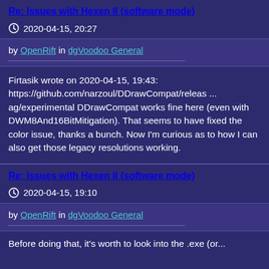Re: Issues with Hexen II (software mode)
2020-04-15, 20:27
by OpenRift in dgVoodoo General
Firtasik wrote on 2020-04-15, 19:43:
https://github.com/narzoul/DDrawCompat/releas ...
ag/experimental DDrawCompat works fine here (even with DWM8And16BitMitigation). That seems to have fixed the color issue, thanks a bunch. Now I'm curious as to how I can also get those legacy resolutions working.
Re: Issues with Hexen II (software mode)
2020-04-15, 19:10
by OpenRift in dgVoodoo General
Before doing that, it's worth to look into the .exe (or...